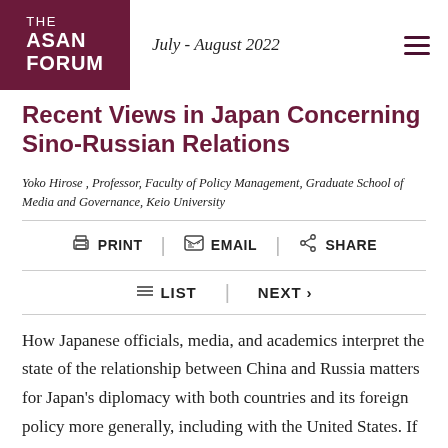THE ASAN FORUM | July - August 2022
Recent Views in Japan Concerning Sino-Russian Relations
Yoko Hirose , Professor, Faculty of Policy Management, Graduate School of Media and Governance, Keio University
PRINT | EMAIL | SHARE
LIST | NEXT >
How Japanese officials, media, and academics interpret the state of the relationship between China and Russia matters for Japan's diplomacy with both countries and its foreign policy more generally, including with the United States. If they see a strong bond verging on